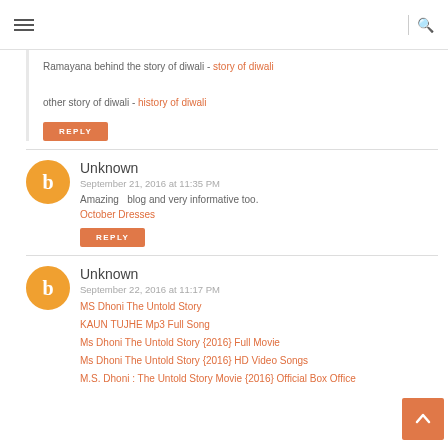☰  |  🔍
Ramayana behind the story of diwali - story of diwali

other story of diwali - history of diwali
REPLY
Unknown
September 21, 2016 at 11:35 PM
Amazing blog and very informative too.
October Dresses
REPLY
Unknown
September 22, 2016 at 11:17 PM
MS Dhoni The Untold Story
KAUN TUJHE Mp3 Full Song
Ms Dhoni The Untold Story {2016} Full Movie
Ms Dhoni The Untold Story {2016} HD Video Songs
M.S. Dhoni : The Untold Story Movie {2016} Official Box Office